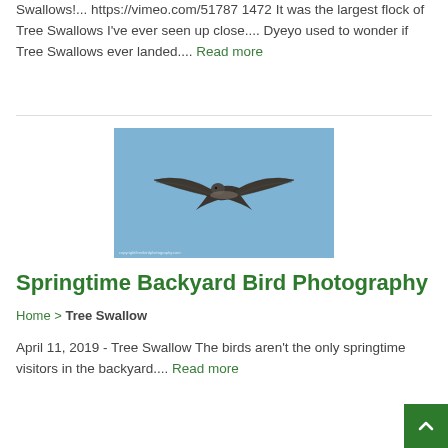Swallows!... https://vimeo.com/51787 1472 It was the largest flock of Tree Swallows I've ever seen up close.... Dyeyo used to wonder if Tree Swallows ever landed.... Read more
[Figure (photo): A bird (swallow/swift) in flight against a blue sky background, wings spread wide, viewed from below/side. Watermark text visible at bottom left.]
Springtime Backyard Bird Photography
Home > Tree Swallow
April 11, 2019 - Tree Swallow The birds aren't the only springtime visitors in the backyard.... Read more